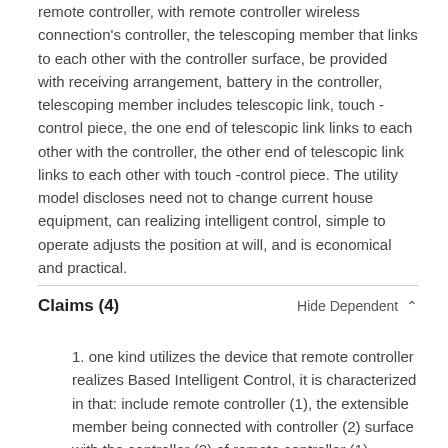remote controller, with remote controller wireless connection's controller, the telescoping member that links to each other with the controller surface, be provided with receiving arrangement, battery in the controller, telescoping member includes telescopic link, touch -control piece, the one end of telescopic link links to each other with the controller, the other end of telescopic link links to each other with touch -control piece. The utility model discloses need not to change current house equipment, can realizing intelligent control, simple to operate adjusts the position at will, and is economical and practical.
Claims (4)
1. one kind utilizes the device that remote controller realizes Based Intelligent Control, it is characterized in that: include remote controller (1), the extensible member being connected with controller (2) surface with the controller (2) of remote controller (1) wireless connections, reception device (4), battery (5) it is provided with in described controller (2), described extensible member includes expansion link (3), touching control (6), one end of described expansion link (3) is connected with controller (2),